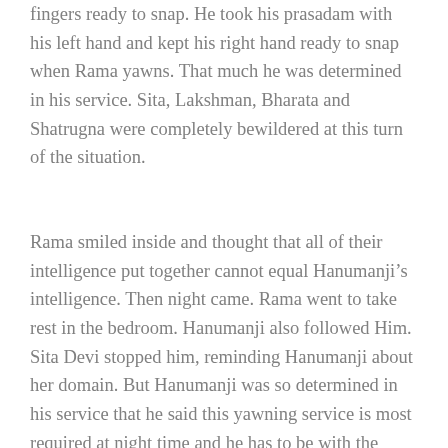fingers ready to snap. He took his prasadam with his left hand and kept his right hand ready to snap when Rama yawns. That much he was determined in his service. Sita, Lakshman, Bharata and Shatrugna were completely bewildered at this turn of the situation.
Rama smiled inside and thought that all of their intelligence put together cannot equal Hanumanji’s intelligence. Then night came. Rama went to take rest in the bedroom. Hanumanji also followed Him. Sita Devi stopped him, reminding Hanumanji about her domain. But Hanumanji was so determined in his service that he said this yawning service is most required at night time and he has to be with the Lord and it is very much essential.